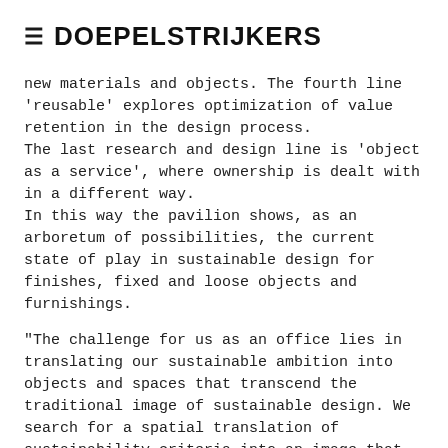≡ DOEPELSTRIJKERS
new materials and objects. The fourth line 'reusable' explores optimization of value retention in the design process.
The last research and design line is 'object as a service', where ownership is dealt with in a different way.
In this way the pavilion shows, as an arboretum of possibilities, the current state of play in sustainable design for finishes, fixed and loose objects and furnishings.
"The challenge for us as an office lies in translating our sustainable ambition into objects and spaces that transcend the traditional image of sustainable design. We search for a spatial translation of sustainability criteria into an image that does not directly refer to reuse for example, but rather by incorporating the positive attributes of sustainable building principles into objects, spaces and buildings that reflect our contemporary design idiom. Circl demonstrates where we are right now after 10 years of research and realising projects in which theory and practice constantly re-inform each other. The conclusions and learning's from this project will help shape our agenda going forward." - DoepelStrijkers 2017